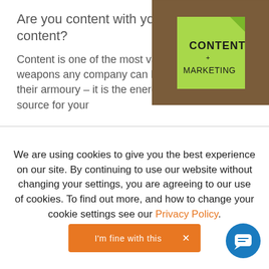Are you content with your content?
Content is one of the most valuable weapons any company can have in their armoury – it is the energy source for your
[Figure (photo): A green sticky note with handwritten text 'CONTENT + MARKETING' on a brown textured background]
We are using cookies to give you the best experience on our site. By continuing to use our website without changing your settings, you are agreeing to our use of cookies. To find out more, and how to change your cookie settings see our Privacy Policy.
[Figure (other): Orange button with text "I'm fine with this" and an X, and a blue circular chat bubble icon]